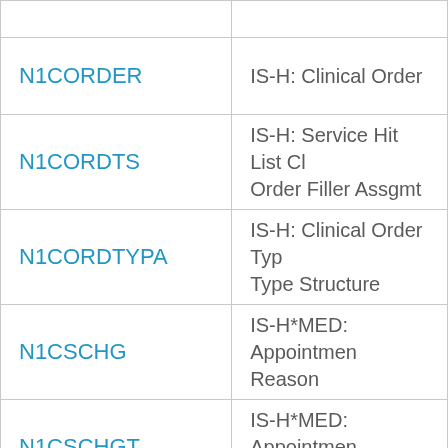| Code | Description |
| --- | --- |
| N1CORDER | IS-H: Clinical Order |
| N1CORDTS | IS-H: Service Hit List Cl Order Filler Assgmt |
| N1CORDTYPA | IS-H: Clinical Order Typ Type Structure |
| N1CSCHG | IS-H*MED: Appointmen Reason |
| N1CSCHGT | IS-H*MED: Appointmen Reason (Text) |
|  | IS-H*MED: Classificati... |